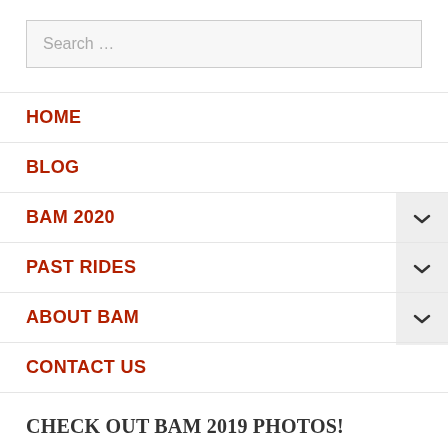Search ...
HOME
BLOG
BAM 2020
PAST RIDES
ABOUT BAM
CONTACT US
CHECK OUT BAM 2019 PHOTOS!